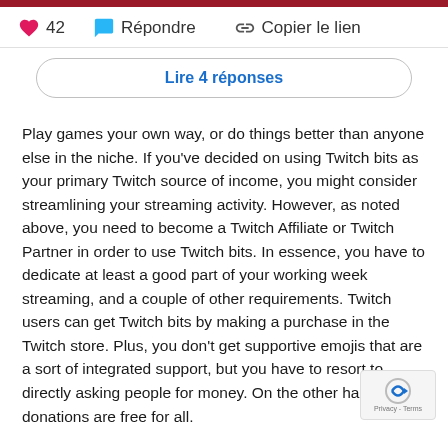[Figure (screenshot): Interaction bar with heart icon showing 42 likes, reply bubble icon with 'Répondre', and chain link icon with 'Copier le lien']
Lire 4 réponses
Play games your own way, or do things better than anyone else in the niche. If you've decided on using Twitch bits as your primary Twitch source of income, you might consider streamlining your streaming activity. However, as noted above, you need to become a Twitch Affiliate or Twitch Partner in order to use Twitch bits. In essence, you have to dedicate at least a good part of your working week streaming, and a couple of other requirements. Twitch users can get Twitch bits by making a purchase in the Twitch store. Plus, you don't get supportive emojis that are a sort of integrated support, but you have to resort to directly asking people for money. On the other hand, donations are free for all.
How Do Bits Support Twitch Streamers?